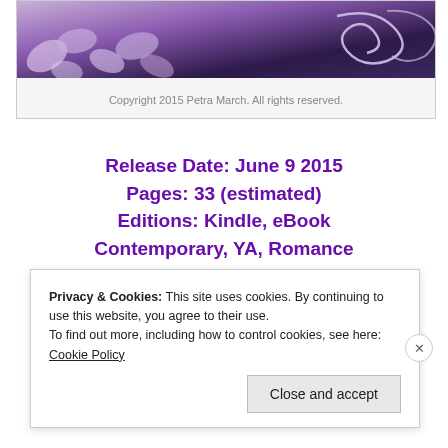[Figure (photo): Partial view of book cover with purple/violet crystals or flowers and decorative swirl design on dark background]
Copyright 2015 Petra March. All rights reserved.
Release Date: June 9 2015
Pages: 33 (estimated)
Editions: Kindle, eBook
Contemporary, YA, Romance
Publisher: Petra F. Bagnardi
Cover Artists: PFB and F. Cherico
Privacy & Cookies: This site uses cookies. By continuing to use this website, you agree to their use.
To find out more, including how to control cookies, see here: Cookie Policy
Close and accept